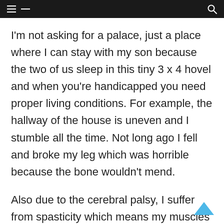Navigation bar with hamburger menu and search icon
I'm not asking for a palace, just a place where I can stay with my son because the two of us sleep in this tiny 3 x 4 hovel and when you're handicapped you need proper living conditions. For example, the hallway of the house is uneven and I stumble all the time. Not long ago I fell and broke my leg which was horrible because the bone wouldn't mend.
Also due to the cerebral palsy, I suffer from spasticity which means my muscles start to contract gradually from the feet upwards and when it gets to my waist I